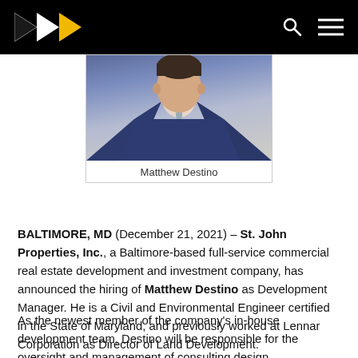St. John Properties logo, search icon, menu icon
[Figure (photo): Portrait photo of Matthew Destino in a navy suit with a light gray tie, with caption 'Matthew Destino' below]
Matthew Destino
BALTIMORE, MD (December 21, 2021) – St. John Properties, Inc., a Baltimore-based full-service commercial real estate development and investment company, has announced the hiring of Matthew Destino as Development Manager. He is a Civil and Environmental Engineer certified in the State of Maryland, and previously worked at Lennar Corporation as Director of Land Development.
As the newest member of the company's in-house development team, Destino will be responsible for the oversight and management of consulting design